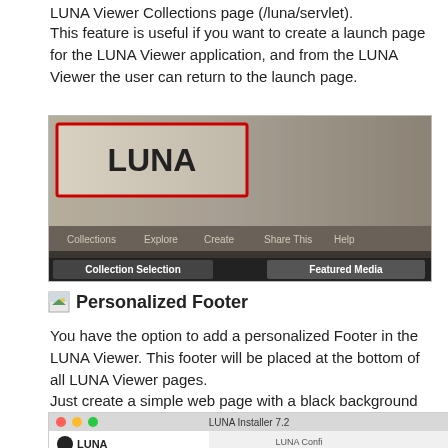LUNA Viewer Collections page (/luna/servlet).
This feature is useful if you want to create a launch page for the LUNA Viewer application, and from the LUNA Viewer the user can return to the launch page.
[Figure (screenshot): LUNA Viewer interface screenshot showing LUNA header with red border highlight, navigation menu (Collections, Explore, Create, Share This, Help), and bottom bar with Collection Selection and Featured Media tabs.]
Personalized Footer
You have the option to add a personalized Footer in the LUNA Viewer. This footer will be placed at the bottom of all LUNA Viewer pages.
Just create a simple web page with a black background and place it on a web server.
Click here to see an example
[Figure (screenshot): LUNA Installer 7.2 application window showing LUNA logo, sidebar with Introduction and General Configuration items checked, and main panel with LUNA Configuration heading.]